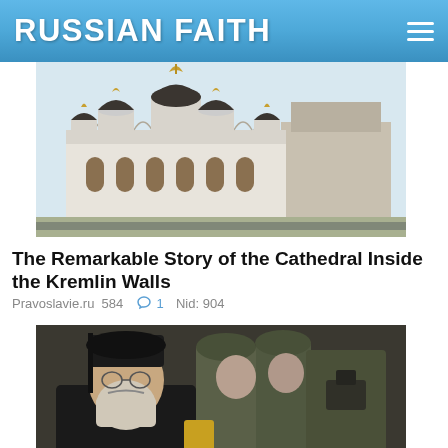RUSSIAN FAITH
[Figure (photo): Photo of a Russian Orthodox cathedral with white walls, dark domed roofs with gold onion domes, inside Kremlin walls]
The Remarkable Story of the Cathedral Inside the Kremlin Walls
Pravoslavie.ru  584  💬 1  Nid: 904
[Figure (photo): Photo of an Orthodox priest in black robes and kamilavka with soldiers in military uniforms and helmets]
The Ukraine Conflict is a Spiritual Struggle Between the West and Russia